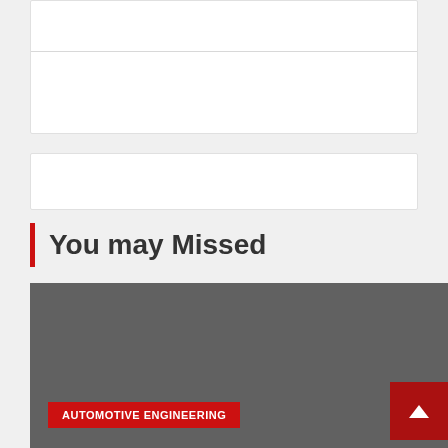[Figure (other): White card block at top of page, partially cropped, with a horizontal divider line roughly 50px from top]
[Figure (other): White card block, narrower, below the first card]
You may Missed
[Figure (photo): Large gray/dark image placeholder block with a red 'AUTOMOTIVE ENGINEERING' category badge at bottom left, and a red scroll-to-top arrow button at bottom right]